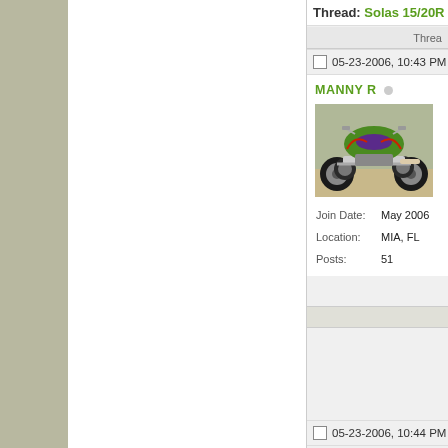Thread: Solas 15/20R I...
Threa...
05-23-2006, 10:43 PM
MANNY R
[Figure (photo): ATV quad bike photo - green and purple ATV with chrome frame on sandy ground]
| Join Date: | May 2006 |
| Location: | MIA, FL |
| Posts: | 51 |
05-23-2006, 10:44 PM